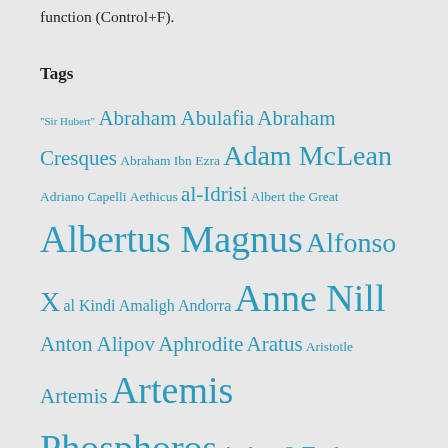function (Control+F).
Tags
"Sir Hubert" Abraham Abulafia Abraham Cresques Abraham Ibn Ezra Adam McLean Adriano Capelli Aethicus al-Idrisi Albert the Great Albertus Magnus Alfonso X al Kindi Amaligh Andorra Anne Nill Anton Alipov Aphrodite Aratus Aristotle Artemis Artemis Phosphoros Arthur O.Tucker Artur Sixto astrology Athansius Kircher Augustine of Hippo Barbara Barrett Barbara Shailor Beinecke Library Bill Sherman Black Sea Bodleian Library MS Marsh 144 Bohemia BOI Books of Secrets Brit.Lib. MS Harley 6149 buffalo Byzantion Cabala Capelli Charles Singer cipher ciphertext